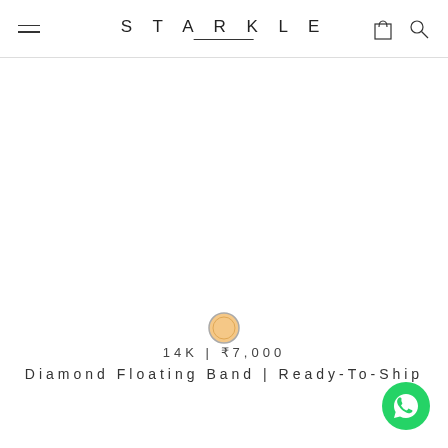STARKLE
[Figure (illustration): Gold color swatch circle for product color selection]
14K | ₹7,000
Diamond Floating Band | Ready-To-Ship
[Figure (logo): WhatsApp contact button, green circle with phone icon]